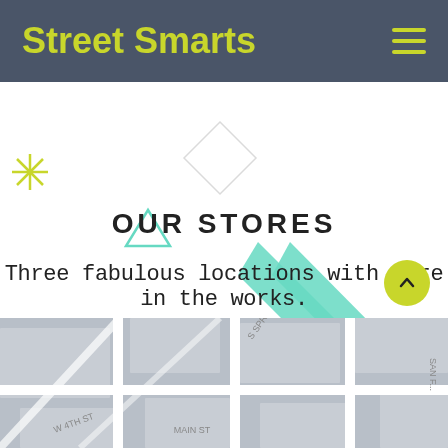Street Smarts
OUR STORES
Three fabulous locations with more in the works.
[Figure (map): Grayscale street map showing city blocks, roads labeled S Spring, Main St, W 4th St, San P (partial)]